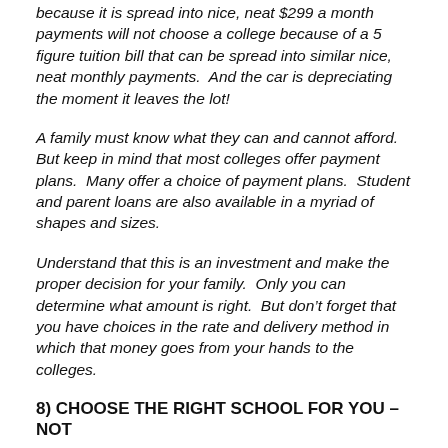because it is spread into nice, neat $299 a month payments will not choose a college because of a 5 figure tuition bill that can be spread into similar nice, neat monthly payments.  And the car is depreciating the moment it leaves the lot!
A family must know what they can and cannot afford.  But keep in mind that most colleges offer payment plans.  Many offer a choice of payment plans.  Student and parent loans are also available in a myriad of shapes and sizes.
Understand that this is an investment and make the proper decision for your family.  Only you can determine what amount is right.  But don’t forget that you have choices in the rate and delivery method in which that money goes from your hands to the colleges.
8) CHOOSE THE RIGHT SCHOOL FOR YOU – NOT